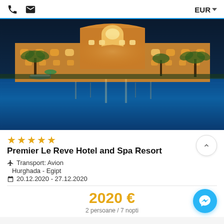EUR
[Figure (photo): Night view of Premier Le Reve Hotel and Spa Resort with illuminated facade reflected in a large swimming pool, palm trees in foreground]
★★★★★
Premier Le Reve Hotel and Spa Resort
✈ Transport: Avion
Hurghada - Egipt
📅 20.12.2020 - 27.12.2020
2020 €
2 persoane / 7 nopti